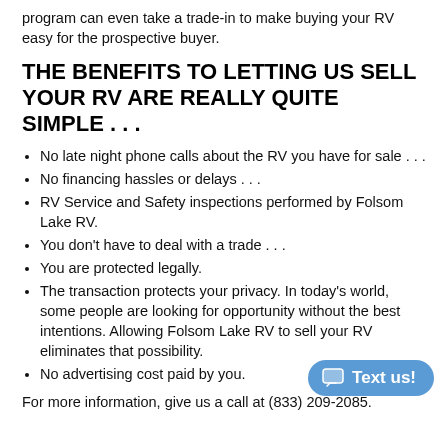program can even take a trade-in to make buying your RV easy for the prospective buyer.
THE BENEFITS TO LETTING US SELL YOUR RV ARE REALLY QUITE SIMPLE . . .
No late night phone calls about the RV you have for sale . . .
No financing hassles or delays . . .
RV Service and Safety inspections performed by Folsom Lake RV.
You don't have to deal with a trade . . .
You are protected legally.
The transaction protects your privacy. In today's world, some people are looking for opportunity without the best intentions. Allowing Folsom Lake RV to sell your RV eliminates that possibility.
No advertising cost paid by you.
For more information, give us a call at (833) 209-2085.